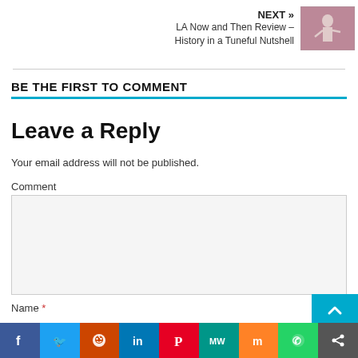NEXT » LA Now and Then Review – History in a Tuneful Nutshell
[Figure (photo): Thumbnail photo of a performer on stage with pink/red lighting]
BE THE FIRST TO COMMENT
Leave a Reply
Your email address will not be published.
Comment
Name *